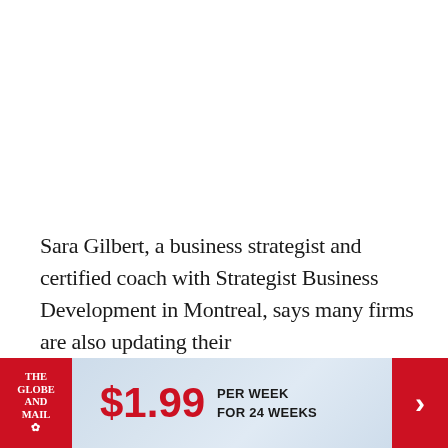Sara Gilbert, a business strategist and certified coach with Strategist Business Development in Montreal, says many firms are also updating their
[Figure (other): Advertisement banner for The Globe and Mail subscription offer: $1.99 per week for 24 weeks, with red logo on left and red arrow button on right]